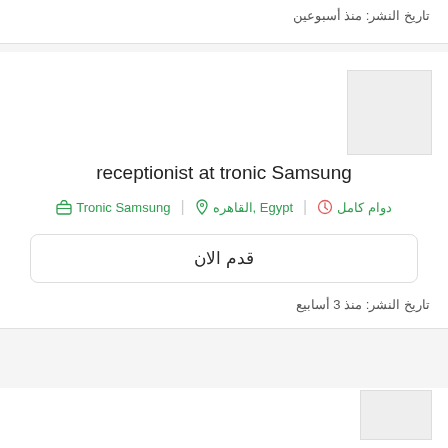تاريخ النشر: منذ أسبوعين
[Figure (other): Company logo placeholder - light gray square]
receptionist at tronic Samsung
Tronic Samsung   القاهره, Egypt   دوام كامل
قدم الان
تاريخ النشر: منذ 3 أسابيع
[Figure (other): Company logo placeholder at bottom - light gray square]